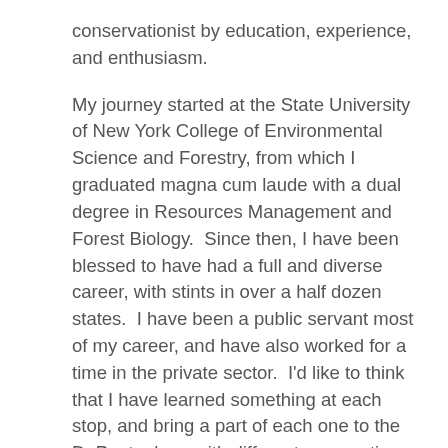conservationist by education, experience, and enthusiasm.
My journey started at the State University of New York College of Environmental Science and Forestry, from which I graduated magna cum laude with a dual degree in Resources Management and Forest Biology.  Since then, I have been blessed to have had a full and diverse career, with stints in over a half dozen states.  I have been a public servant most of my career, and have also worked for a time in the private sector.  I'd like to think that I have learned something at each stop, and bring a part of each one to the DuPont, along with different perspectives.
I have managed state and private forests in Montana, New York, Virginia, and North Carolina, fought wildfires in Idaho, Montana, Virginia, and North Dakota, and conserved forests in Virginia.  Immediately prior to coming to DuPont, I led the statewide forestland